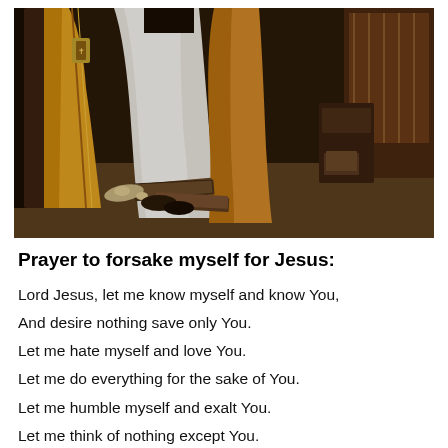[Figure (photo): Classical religious painting showing a figure in ornate golden and white vestments kneeling, with books and scrolls on the floor, a wooden furniture piece and decorative tapestry in the background.]
Prayer to forsake myself for Jesus:
Lord Jesus, let me know myself and know You,
And desire nothing save only You.
Let me hate myself and love You.
Let me do everything for the sake of You.
Let me humble myself and exalt You.
Let me think of nothing except You.
Let me die to myself and live in You.